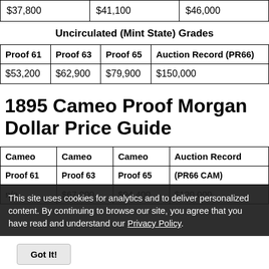| $37,800 | $41,100 | $46,000 |
Uncirculated (Mint State) Grades
| Proof 61 | Proof 63 | Proof 65 | Auction Record (PR66) |
| --- | --- | --- | --- |
| $53,200 | $62,900 | $79,900 | $150,000 |
1895 Cameo Proof Morgan Dollar Price Guide
| Cameo | Cameo | Cameo | Auction Record |
| --- | --- | --- | --- |
| Proof 61 | Proof 63 | Proof 65 | (PR66 CAM) |
| n/a | $67,000 | $94,400 | $120,000 |
This site uses cookies for analytics and to deliver personalized content. By continuing to browse our site, you agree that you have read and understand our Privacy Policy.
1895 Deep Cameo / Ultra Cameo Proof Morgan Dollar Price Guide